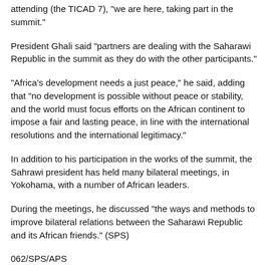attending (the TICAD 7), "we are here, taking part in the summit."
President Ghali said "partners are dealing with the Saharawi Republic in the summit as they do with the other participants."
"Africa's development needs a just peace," he said, adding that "no development is possible without peace or stability, and the world must focus efforts on the African continent to impose a fair and lasting peace, in line with the international resolutions and the international legitimacy."
In addition to his participation in the works of the summit, the Sahrawi president has held many bilateral meetings, in Yokohama, with a number of African leaders.
During the meetings, he discussed "the ways and methods to improve bilateral relations between the Saharawi Republic and its African friends." (SPS)
062/SPS/APS